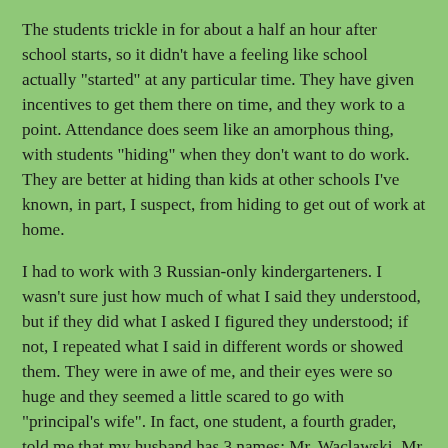The students trickle in for about a half an hour after school starts, so it didn't have a feeling like school actually "started" at any particular time. They have given incentives to get them there on time, and they work to a point. Attendance does seem like an amorphous thing, with students "hiding" when they don't want to do work. They are better at hiding than kids at other schools I've known, in part, I suspect, from hiding to get out of work at home.
I had to work with 3 Russian-only kindergarteners. I wasn't sure just how much of what I said they understood, but if they did what I asked I figured they understood; if not, I repeated what I said in different words or showed them. They were in awe of me, and their eyes were so huge and they seemed a little scared to go with "principal's wife". In fact, one student, a fourth grader, told me that my husband has 3 names: Mr. Waclawski, Mr. W and principal.
I took the 2nd, 3rd and 4th graders out cross-country skiing and that was quite an experience too. They'd only been taken out once before this year, and the girls were a little nervous. One kid ran all the way home and got snowpants when he heard we were going skiing. The girls didn't want to go without snowpants (they wear dresses with no tights on under), but luckily it was warm out. I'll